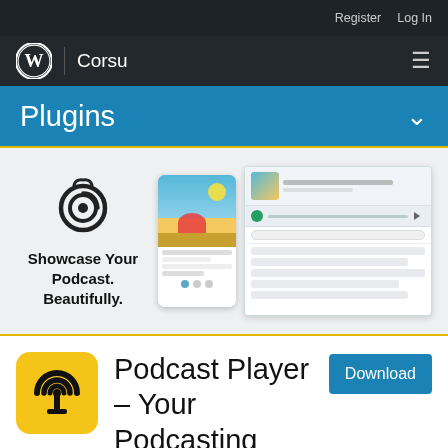Register  Log In
WordPress | Corsu
Plugins
[Figure (screenshot): Podcast Player plugin hero banner showing logo with tagline 'Showcase Your Podcast. Beautifully.' alongside phone and desktop mockup screenshots of the plugin interface]
[Figure (logo): Podcast Player plugin icon: yellow/gold rounded square with black podcast antenna signal logo]
Podcast Player – Your Podcasting Companion
Download